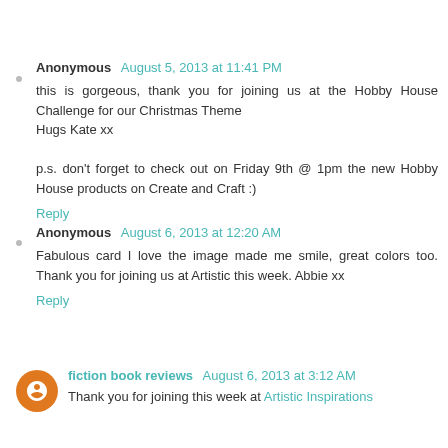Anonymous  August 5, 2013 at 11:41 PM
this is gorgeous, thank you for joining us at the Hobby House Challenge for our Christmas Theme
Hugs Kate xx

p.s. don't forget to check out on Friday 9th @ 1pm the new Hobby House products on Create and Craft :)
Reply
Anonymous  August 6, 2013 at 12:20 AM
Fabulous card I love the image made me smile, great colors too. Thank you for joining us at Artistic this week. Abbie xx
Reply
fiction book reviews  August 6, 2013 at 3:12 AM
Thank you for joining this week at Artistic Inspirations